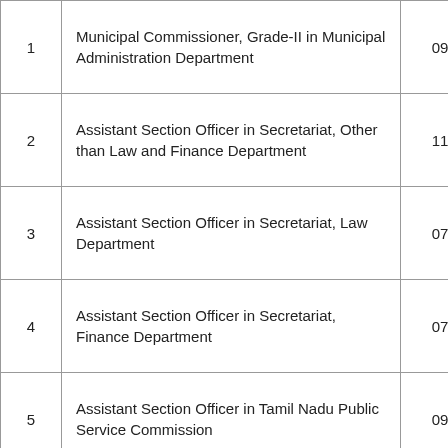|  | Position | Count |
| --- | --- | --- |
| 1 | Municipal Commissioner, Grade-II in Municipal Administration Department | 09 |
| 2 | Assistant Section Officer in Secretariat, Other than Law and Finance Department | 11 |
| 3 | Assistant Section Officer in Secretariat, Law Department | 07 |
| 4 | Assistant Section Officer in Secretariat, Finance Department | 07 |
| 5 | Assistant Section Officer in Tamil Nadu Public Service Commission | 09 |
| 6 | Full-Time Residential Warden (Men's Hostel) in Dr Ambedkar Government Law C | 01 |